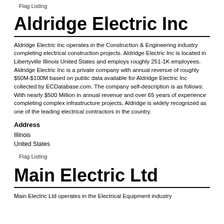Flag Listing
Aldridge Electric Inc
Aldridge Electric Inc operates in the Construction & Engineering industry completing electrical construction projects. Aldridge Electric Inc is located in Libertyville Illinois United States and employs roughly 251-1K employees. Aldridge Electric Inc is a private company with annual revenue of roughly $50M-$100M based on public data available for Aldridge Electric Inc collected by ECDatabase.com. The company self-description is as follows: With nearly $500 Million in annual revenue and over 65 years of experience completing complex infrastructure projects, Aldridge is widely recognized as one of the leading electrical contractors in the country.
Address
Illinois
United States
Flag Listing
Main Electric Ltd
Main Electric Ltd operates in the Electrical Equipment industry